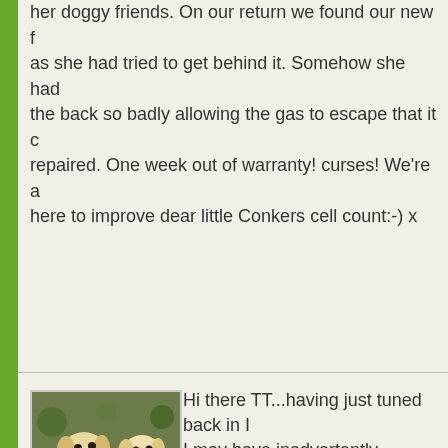her doggy friends. On our return we found our new f... as she had tried to get behind it. Somehow she had... the back so badly allowing the gas to escape that it ... repaired. One week out of warranty! curses! We're a... here to improve dear little Conkers cell count:-) x
[Figure (photo): Photo of two yellow Labrador dogs sitting together outdoors]
Alzheimer
Hi there TT...having just tuned back in I... I may have inadvertently alarmed you w... of the word spray. Let me assure you st... that I would not in any way put at risk a... These products are purely a scientific mimic of natur... DAP = Dog Appeasing Pheromone and the function... pheromone is to provide a feeling of comfort, safety a... reassurance to the young. A dogs "appeasing" phero... secreted by the bitch 3 to 5 days after the puppies b... Scientists have managed to produce a synthetic vers... Dog Appeasement Pheromone and they are species...